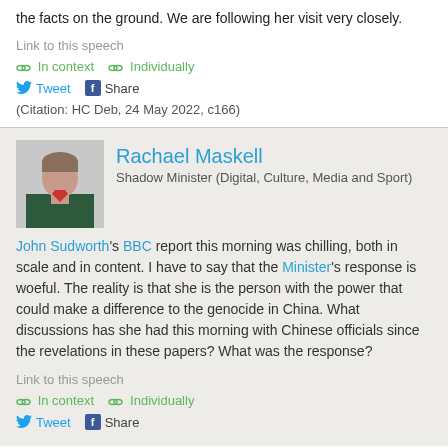the facts on the ground. We are following her visit very closely.
Link to this speech
In context   Individually
Tweet   Share
(Citation: HC Deb, 24 May 2022, c166)
Rachael Maskell
Shadow Minister (Digital, Culture, Media and Sport)
John Sudworth's BBC report this morning was chilling, both in scale and in content. I have to say that the Minister's response is woeful. The reality is that she is the person with the power that could make a difference to the genocide in China. What discussions has she had this morning with Chinese officials since the revelations in these papers? What was the response?
Link to this speech
In context   Individually
Tweet   Share